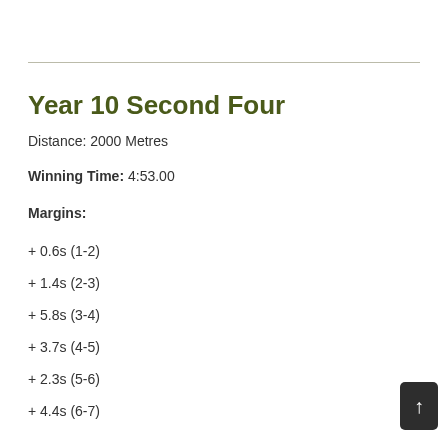Year 10 Second Four
Distance: 2000 Metres
Winning Time: 4:53.00
Margins:
+ 0.6s (1-2)
+ 1.4s (2-3)
+ 5.8s (3-4)
+ 3.7s (4-5)
+ 2.3s (5-6)
+ 4.4s (6-7)